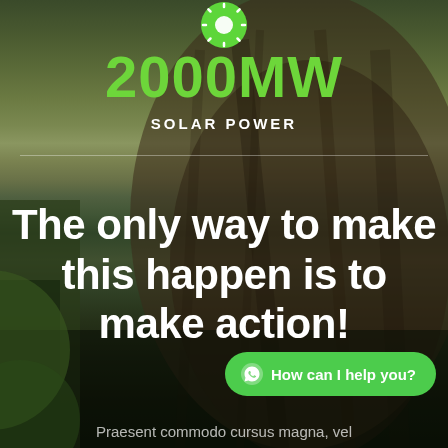[Figure (illustration): Green sun icon at top center against background photo of a tree trunk with natural greenery]
2000MW
SOLAR POWER
The only way to make this happen is to make action!
How can I help you?
Praesent commodo cursus magna, vel